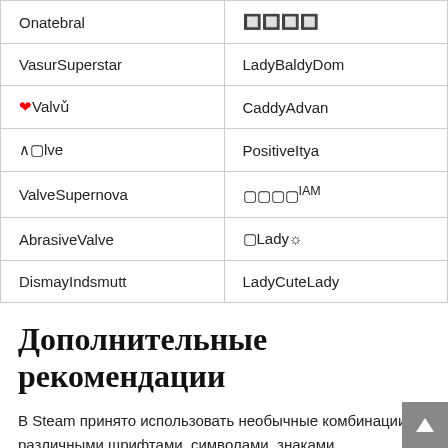| Name1 | Name2 |
| --- | --- |
| Onatebral | 🟫🟫🟫🟫 |
| VasurSuperstar | LadyBaldyDom |
| ❤Valvə | CaddyAdvan |
| ∧🟫lve | PositiveItya |
| ValveSupernova | 🟫🟫🟫🟫ᴵᴬᴹ |
| AbrasiveValve | 🟫Lady |
| DismayIndsmutt | LadyCuteLady |
Дополнительные рекомендации
В Steam принято использовать необычные комбинации с различными шрифтами, символами, знаками, иероглифами и так далее. Именно такие готовые варианты собраны в нашей таблице выше.